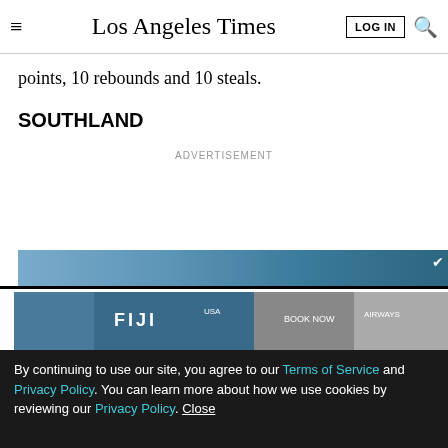Los Angeles Times
points, 10 rebounds and 10 steals.
SOUTHLAND
ADVERTISEMENT
LIMITED-TIME OFFER
$1 for 6 Months
SUBSCRIBE NOW
By continuing to use our site, you agree to our Terms of Service and Privacy Policy. You can learn more about how we use cookies by reviewing our Privacy Policy. Close